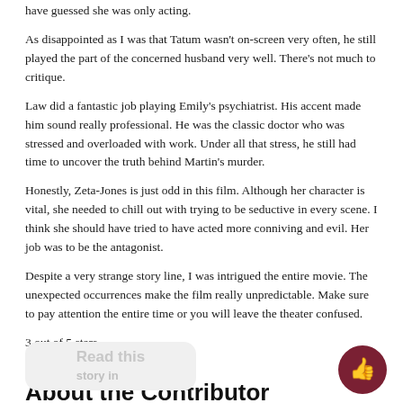have guessed she was only acting.
As disappointed as I was that Tatum wasn't on-screen very often, he still played the part of the concerned husband very well. There's not much to critique.
Law did a fantastic job playing Emily's psychiatrist. His accent made him sound really professional. He was the classic doctor who was stressed and overloaded with work. Under all that stress, he still had time to uncover the truth behind Martin's murder.
Honestly, Zeta-Jones is just odd in this film. Although her character is vital, she needed to chill out with trying to be seductive in every scene. I think she should have tried to have acted more conniving and evil. Her job was to be the antagonist.
Despite a very strange story line, I was intrigued the entire movie. The unexpected occurrences make the film really unpredictable. Make sure to pay attention the entire time or you will leave the theater confused.
3 out of 5 stars.
About the Contributor
Jansen Hess, Sports Editor